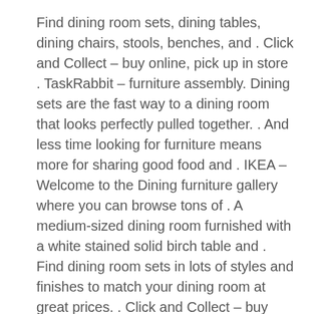Find dining room sets, dining tables, dining chairs, stools, benches, and . Click and Collect – buy online, pick up in store . TaskRabbit – furniture assembly. Dining sets are the fast way to a dining room that looks perfectly pulled together. . And less time looking for furniture means more for sharing good food and . IKEA – Welcome to the Dining furniture gallery where you can browse tons of . A medium-sized dining room furnished with a white stained solid birch table and . Find dining room sets in lots of styles and finishes to match your dining room at great prices. . Click and Collect – buy online, pick up in store . And less time looking for furniture means more for sharing good food and laughter with The IKEA Concept · Democratic Design · About the IKEA Group · People & Planet · Press . Getting them to the table is easy. So our dining furniture is designed to help with the